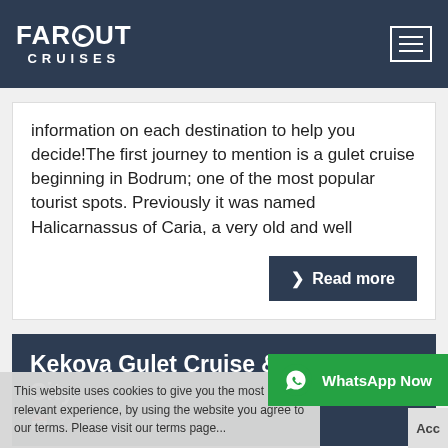FAROUT CRUISES
information on each destination to help you decide!The first journey to mention is a gulet cruise beginning in Bodrum; one of the most popular tourist spots. Previously it was named Halicarnassus of Caria, a very old and well
> Read more
Kekova Gulet Cruise & the Sunken City
22 August 2019
This website uses cookies to give you the most relevant experience, by using the website you agree to our terms. Please visit our terms page...
WhatsApp Now
Rekova – a small uninhabited island in Turkey. It's a beautiful vacation spot, in the